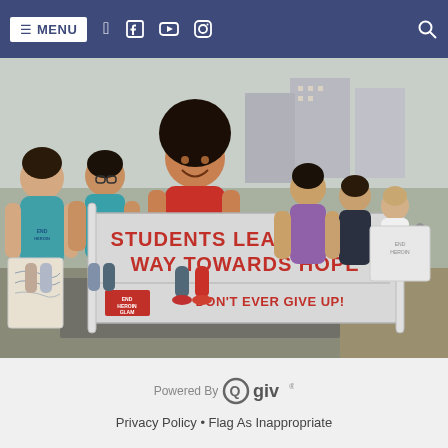≡ MENU  [Facebook] [YouTube] [Instagram]  [Search]
[Figure (photo): Students marching outdoors holding a large banner that reads 'STUDENTS LEADING THE WAY TOWARDS HOPE' and 'DON'T EVER GIVE UP!' with 'END HEROIN/GLAM' logo. Students are smiling and wearing blue and red shirts.]
Powered By Qgiv®
Privacy Policy • Flag As Inappropriate